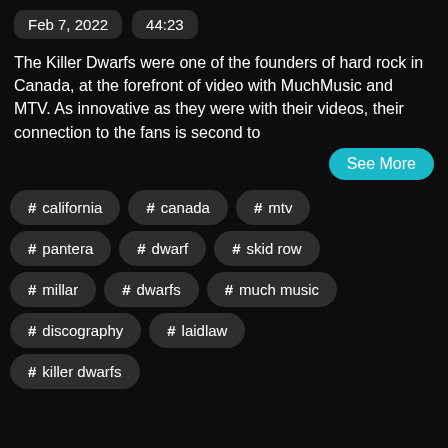Feb 7, 2022   44:23
The Killer Dwarfs were one of the founders of hard rock in Canada, at the forefront of video with MuchMusic and MTV. As innovative as they were with their videos, their connection to the fans is second to
See More
# california
# canada
# mtv
# pantera
# dwarf
# skid row
# millar
# dwarfs
# much music
# discography
# laidlaw
# killer dwarfs